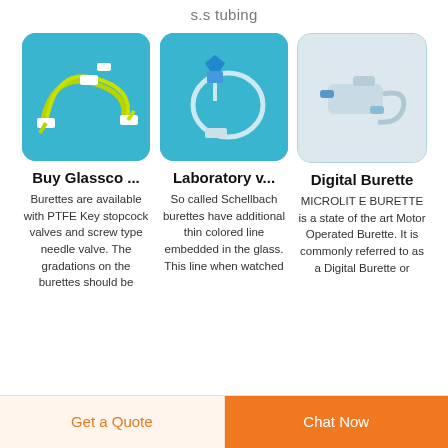s.s tubing
[Figure (photo): Medical tubing/burette set with yellow-green tubes and white connectors on a blue background]
[Figure (photo): Laboratory burette/tubing set with clear tubing and blue connector on a blue background]
[Figure (photo): Digital burette device with clear tubing and blue connectors on a light gray background]
Buy Glassco ...
Burettes are available with PTFE Key stopcock valves and screw type needle valve. The gradations on the burettes should be
Laboratory v...
So called Schellbach burettes have additional thin colored line embedded in the glass. This line when watched
Digital Burette
MICROLIT E BURETTE is a state of the art Motor Operated Burette. It is commonly referred to as a Digital Burette or
Get a Quote
Chat Now